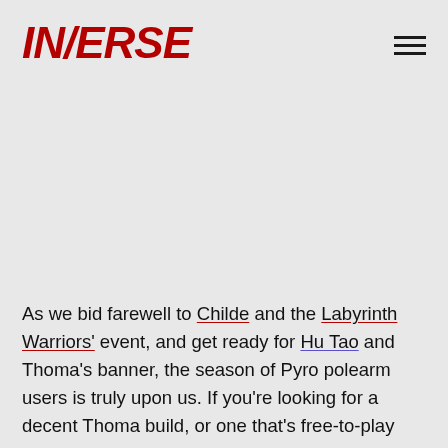INVERSE
As we bid farewell to Childe and the Labyrinth Warriors' event, and get ready for Hu Tao and Thoma's banner, the season of Pyro polearm users is truly upon us. If you're looking for a decent Thoma build, or one that's free-to-play friendly, you've come to the right place.